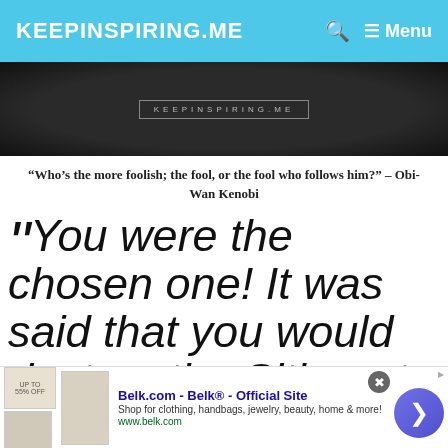KEEPINSPIRING.ME  🔍  ≡ Menu
[Figure (photo): Dark/black textured banner image with 'KEEPINSPIRING.ME' label in center]
“Who’s the more foolish; the fool, or the fool who follows him?” – Obi-Wan Kenobi
“You were the chosen one! It was said that you would destroy the Sith, not join them
[Figure (other): Advertisement banner: Belk.com - Belk® - Official Site. Shop for clothing, handbags, jewelry, beauty, home & more! www.belk.com]